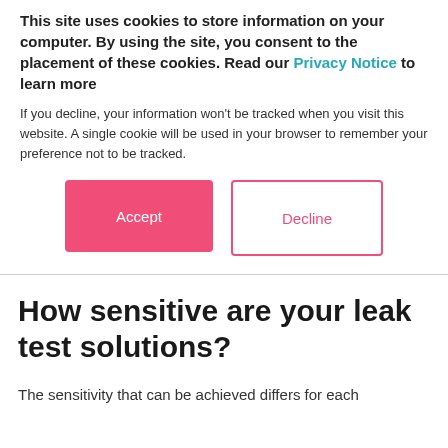This site uses cookies to store information on your computer. By using the site, you consent to the placement of these cookies. Read our Privacy Notice to learn more
If you decline, your information won't be tracked when you visit this website. A single cookie will be used in your browser to remember your preference not to be tracked.
[Figure (other): Two buttons: Accept (pink/filled) and Decline (white with pink border)]
How sensitive are your leak test solutions?
The sensitivity that can be achieved differs for each